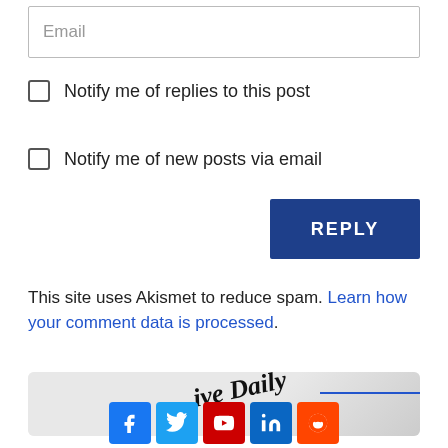Email
Notify me of replies to this post
Notify me of new posts via email
REPLY
This site uses Akismet to reduce spam. Learn how your comment data is processed.
[Figure (photo): Partial newspaper image with text 'ive Daily' and 'tel' visible, with a dark object in the corner]
[Figure (other): Social media icons row: Facebook, Twitter, YouTube, LinkedIn, Reddit]